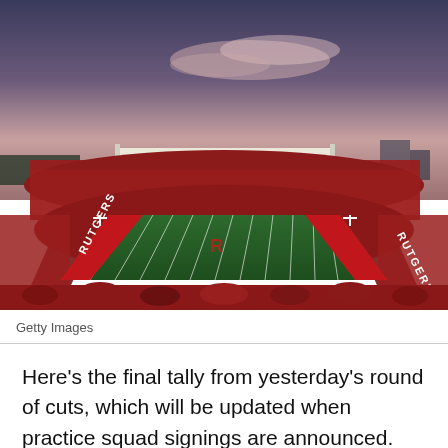[Figure (photo): Aerial view of Rutgers football stadium at dusk, packed with fans in red, with the football field showing 'RUTGERS' in the end zones and stadium lights illuminated against a pink-purple sky.]
Getty Images
Here’s the final tally from yesterday’s round of cuts, which will be updated when practice squad signings are announced. There should also be a few more today as teams around the league scour the waiver